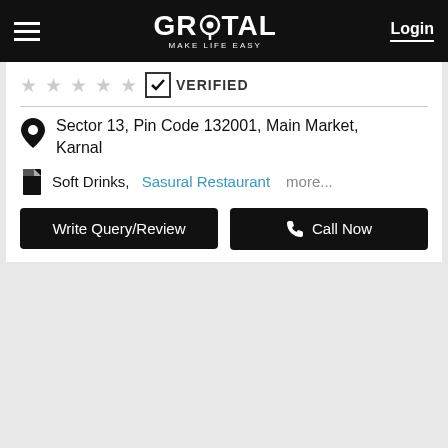GROTAL MAKE LIFE EASY | Login
☆☆☆☆☆ VERIFIED
Sector 13, Pin Code 132001, Main Market, Karnal
Soft Drinks, Sasural Restaurant more...
Write Query/Review | Call Now
Star Food Hut
☆☆☆☆☆ VERIFIED
Shop No. 19, Huda Shopping Complex, Behind Bus Stand, Pin Code 132001, Main